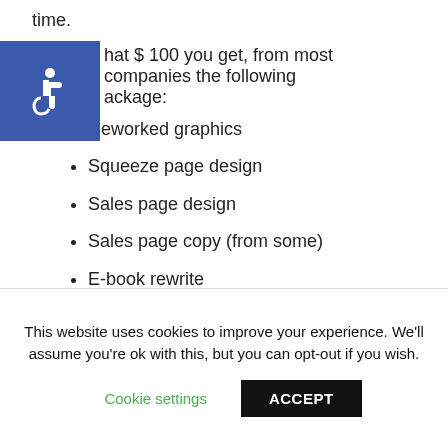time.
hat $ 100 you get, from most companies the following ackage:
[Figure (logo): Blue square accessibility icon with white wheelchair symbol]
Reworked graphics
Squeeze page design
Sales page design
Sales page copy (from some)
E-book rewrite
E-book cover re-work
This website uses cookies to improve your experience. We'll assume you're ok with this, but you can opt-out if you wish.
Cookie settings   ACCEPT